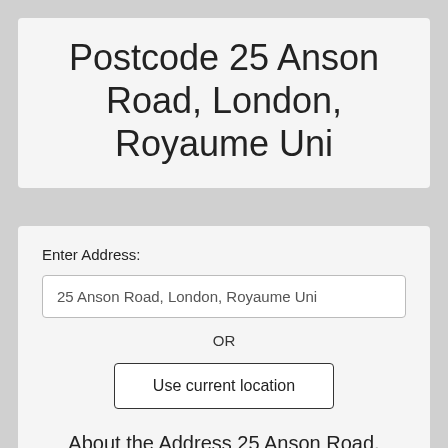Postcode 25 Anson Road, London, Royaume Uni
Enter Address:
25 Anson Road, London, Royaume Uni
OR
Use current location
Find Postcode
About the Address 25 Anson Road, London,